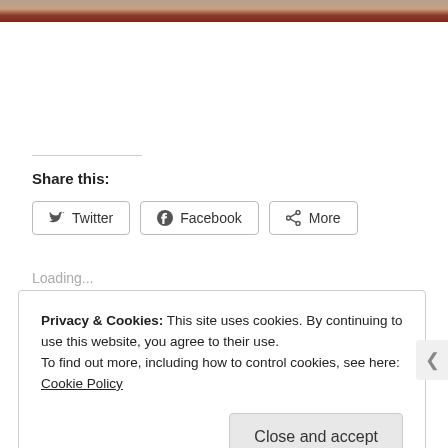[Figure (photo): Top strip of a photo showing a person in a red/brown garment, partially cropped]
Share this:
Twitter
Facebook
More
Loading...
Privacy & Cookies: This site uses cookies. By continuing to use this website, you agree to their use.
To find out more, including how to control cookies, see here: Cookie Policy
Close and accept